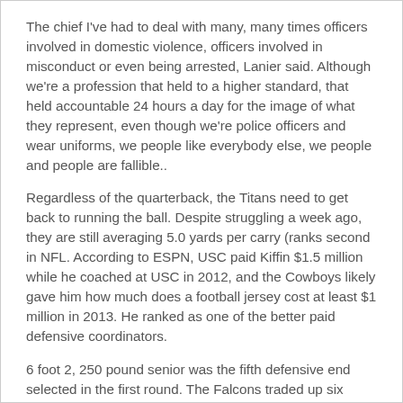The chief I've had to deal with many, many times officers involved in domestic violence, officers involved in misconduct or even being arrested, Lanier said. Although we're a profession that held to a higher standard, that held accountable 24 hours a day for the image of what they represent, even though we're police officers and wear uniforms, we people like everybody else, we people and people are fallible..
Regardless of the quarterback, the Titans need to get back to running the ball. Despite struggling a week ago, they are still averaging 5.0 yards per carry (ranks second in NFL. According to ESPN, USC paid Kiffin $1.5 million while he coached at USC in 2012, and the Cowboys likely gave him how much does a football jersey cost at least $1 million in 2013. He ranked as one of the better paid defensive coordinators.
6 foot 2, 250 pound senior was the fifth defensive end selected in the first round. The Falcons traded up six spots to select McKinley, swapping first round picks with the Seattle Seahawks and giving up third and sixth round picks in this year draft..